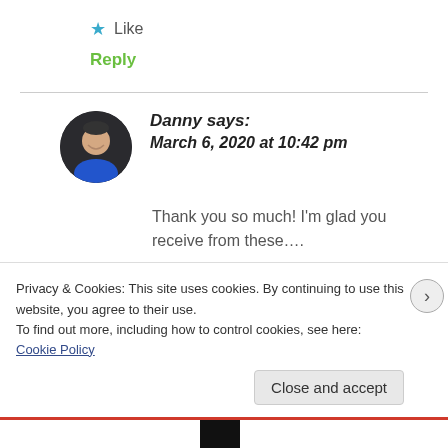★ Like
Reply
Danny says:
March 6, 2020 at 10:42 pm
[Figure (photo): Circular avatar photo of Danny, a man in a blue shirt with dark background]
Thank you so much! I'm glad you receive from these….
Privacy & Cookies: This site uses cookies. By continuing to use this website, you agree to their use.
To find out more, including how to control cookies, see here: Cookie Policy
Close and accept